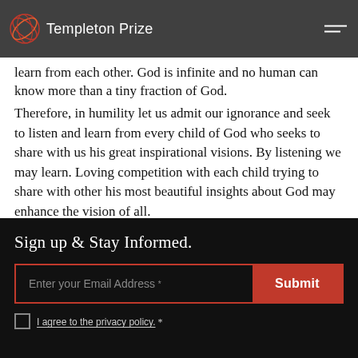Templeton Prize
learn from each other. God is infinite and no human can know more than a tiny fraction of God. Therefore, in humility let us admit our ignorance and seek to listen and learn from every child of God who seeks to share with us his great inspirational visions. By listening we may learn. Loving competition with each child trying to share with other his most beautiful insights about God may enhance the vision of all.
Sign up & Stay Informed.
Enter your Email Address *
I agree to the privacy policy. *